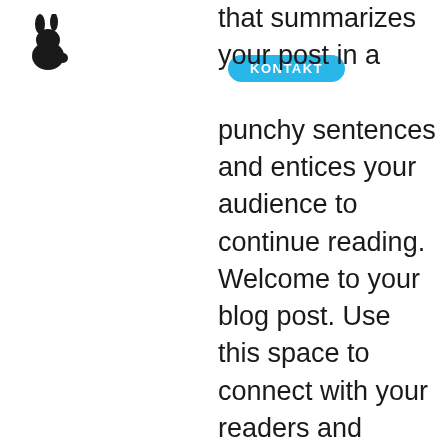[Figure (logo): Black silhouette rabbit logo in top left corner]
KONTAKT
that summarizes your post in a few punchy sentences and entices your audience to continue reading. Welcome to your blog post. Use this space to connect with your readers and potential customers in a way that's current and interesting. Think of it as an ongoing conversation where you can share updates about business, trends, news, and more. Design with Ease “Do you have a design in mind for your blog? Whether you prefer a trendy postcard look